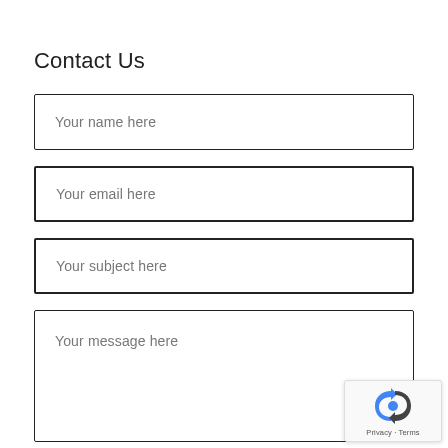Contact Us
Your name here
Your email here
Your subject here
Your message here
[Figure (other): reCAPTCHA badge with Privacy and Terms links]